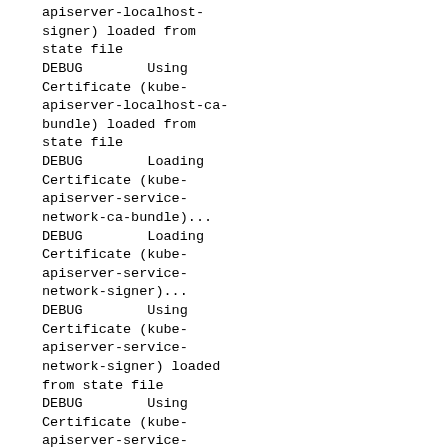apiserver-localhost-signer) loaded from state file
DEBUG        Using Certificate (kube-apiserver-localhost-ca-bundle) loaded from state file
DEBUG        Loading Certificate (kube-apiserver-service-network-ca-bundle)...
DEBUG        Loading Certificate (kube-apiserver-service-network-signer)...
DEBUG        Using Certificate (kube-apiserver-service-network-signer) loaded from state file
DEBUG        Using Certificate (kube-apiserver-service-network-ca-bundle) loaded from state file
DEBUG        Loading Certificate (kube-apiserver-lb-ca-bundle)...
DEBUG        Loading